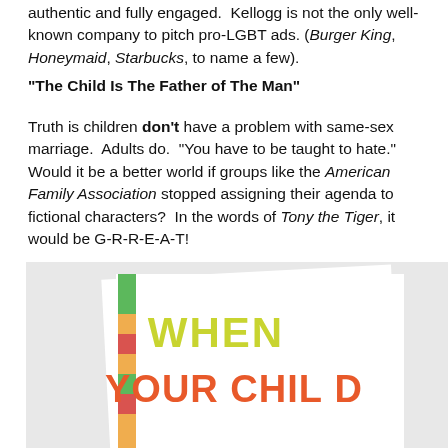authentic and fully engaged.  Kellogg is not the only well-known company to pitch pro-LGBT ads. (Burger King, Honeymaid, Starbucks, to name a few).
“The Child Is The Father of The Man”
Truth is children don’t have a problem with same-sex marriage.  Adults do.  “You have to be taught to hate.”
Would it be a better world if groups like the American Family Association stopped assigning their agenda to fictional characters?  In the words of Tony the Tiger, it would be G-R-R-E-A-T!
[Figure (photo): Book cover showing 'WHEN YOUR CHILD' text in yellow-green letters with a colorful striped bookmark on the left side, against a light gray background]